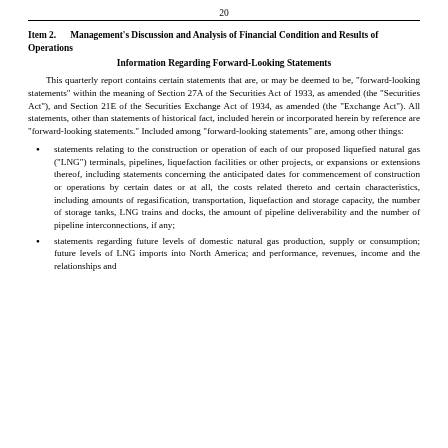20
Item 2. Management's Discussion and Analysis of Financial Condition and Results of Operations
Information Regarding Forward-Looking Statements
This quarterly report contains certain statements that are, or may be deemed to be, "forward-looking statements" within the meaning of Section 27A of the Securities Act of 1933, as amended (the "Securities Act"), and Section 21E of the Securities Exchange Act of 1934, as amended (the "Exchange Act"). All statements, other than statements of historical fact, included herein or incorporated herein by reference are "forward-looking statements." Included among "forward-looking statements" are, among other things:
statements relating to the construction or operation of each of our proposed liquefied natural gas ("LNG") terminals, pipelines, liquefaction facilities or other projects, or expansions or extensions thereof, including statements concerning the anticipated dates for commencement of construction or operations by certain dates or at all, the costs related thereto and certain characteristics, including amounts of regasification, transportation, liquefaction and storage capacity, the number of storage tanks, LNG trains and docks, the amount of pipeline deliverability and the number of pipeline interconnections, if any;
statements regarding future levels of domestic natural gas production, supply or consumption; future levels of LNG imports into North America; and performance, revenues, income and the relationships and